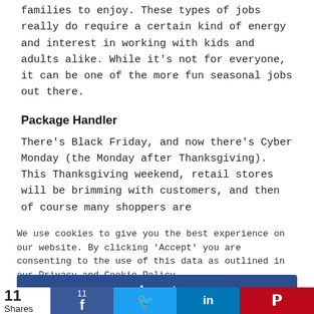families to enjoy. These types of jobs really do require a certain kind of energy and interest in working with kids and adults alike. While it's not for everyone, it can be one of the more fun seasonal jobs out there.
Package Handler
There's Black Friday, and now there's Cyber Monday (the Monday after Thanksgiving). This Thanksgiving weekend, retail stores will be brimming with customers, and then of course many shoppers are
We use cookies to give you the best experience on our website. By clicking 'Accept' you are consenting to the use of this data as outlined in our Privacy and Cookie Policy.
Accept
11
Shares